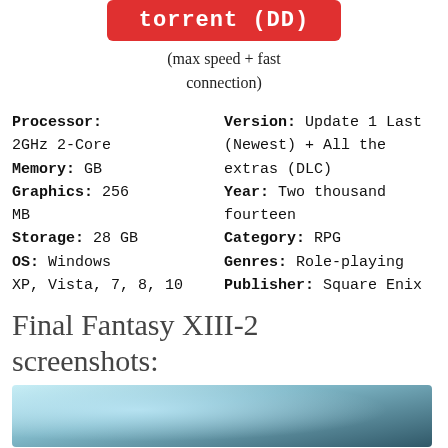[Figure (other): Red button with white text 'torrent (DD)']
(max speed + fast connection)
Processor: 2GHz 2-Core
Memory: GB
Graphics: 256 MB
Storage: 28 GB
OS: Windows XP, Vista, 7, 8, 10
Version: Update 1 Last (Newest) + All the extras (DLC)
Year: Two thousand fourteen
Category: RPG
Genres: Role-playing
Publisher: Square Enix
Final Fantasy XIII-2 screenshots:
[Figure (screenshot): Game screenshot showing a teal/blue atmospheric scene]